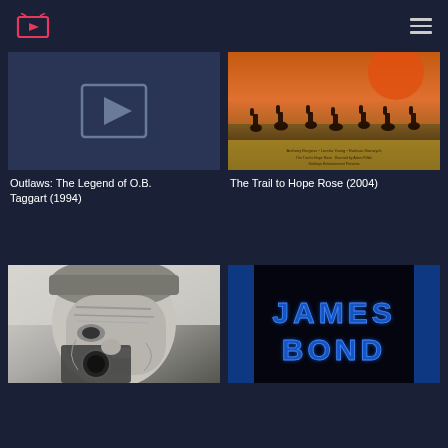Streaming app header with logo and hamburger menu
[Figure (screenshot): Placeholder thumbnail with play button icon for Outlaws: The Legend of O.B. Taggart (1994)]
Outlaws: The Legend of O.B. Taggart (1994)
[Figure (photo): Movie poster for The Trail to Hope Rose (2004) showing horsemen silhouetted against a sky]
The Trail to Hope Rose (2004)
[Figure (photo): Black and white close-up photo of an elderly man looking through a camera]
[Figure (screenshot): Dark blue poster showing the text JAMES BOND in large glowing blue letters]